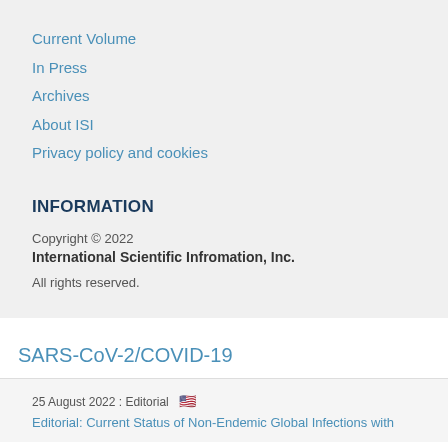Current Volume
In Press
Archives
About ISI
Privacy policy and cookies
INFORMATION
Copyright © 2022
International Scientific Infromation, Inc.
All rights reserved.
SARS-CoV-2/COVID-19
25 August 2022 : Editorial 🇺🇸
Editorial: Current Status of Non-Endemic Global Infections with